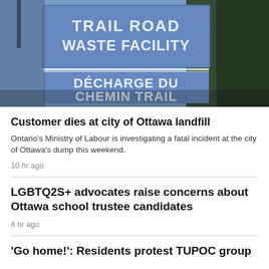[Figure (photo): Blue sign reading 'TRAIL ROAD WASTE FACILITY' and 'DÉCHARGE DU CHEMIN TRAIL' with trees in background]
Customer dies at city of Ottawa landfill
Ontario's Ministry of Labour is investigating a fatal incident at the city of Ottawa's dump this weekend.
10 hr ago
LGBTQ2S+ advocates raise concerns about Ottawa school trustee candidates
8 hr ago
'Go home!': Residents protest TUPOC group